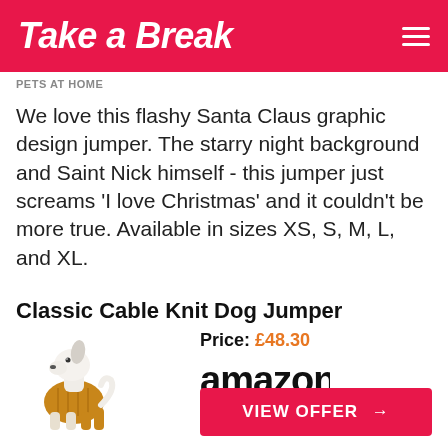Take a Break
PETS AT HOME
We love this flashy Santa Claus graphic design jumper. The starry night background and Saint Nick himself - this jumper just screams 'I love Christmas' and it couldn't be more true. Available in sizes XS, S, M, L, and XL.
Classic Cable Knit Dog Jumper
[Figure (photo): White and tan dog wearing a mustard yellow cable knit jumper, standing and facing right]
Price: £48.30
[Figure (logo): Amazon logo with orange arrow beneath the text]
VIEW OFFER →